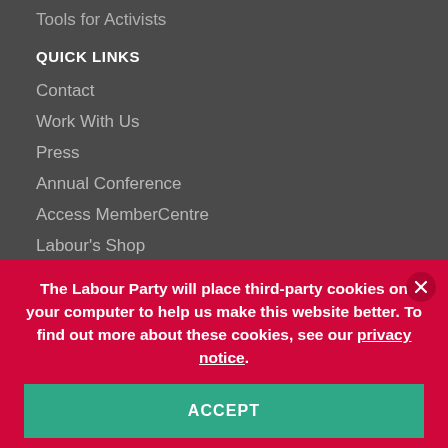Tools for Activists
QUICK LINKS
Contact
Work With Us
Press
Annual Conference
Access MemberCentre
Labour's Shop
Web Accessibility
The Labour Party will place third-party cookies on your computer to help us make this website better. To find out more about these cookies, see our privacy notice.